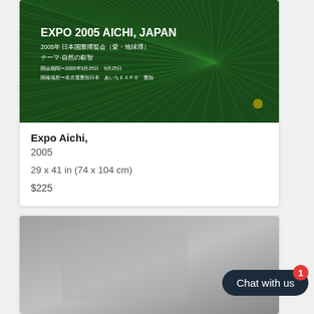[Figure (photo): Expo 2005 Aichi Japan poster with green radiating grass/fiber pattern and Japanese text]
Expo Aichi,
2005
29 x 41 in (74 x 104 cm)
$225
[Figure (photo): Second product card partially visible showing a gray-toned image]
Chat with us